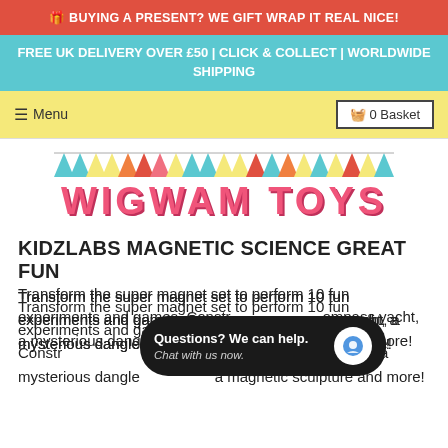🎁 BUYING A PRESENT? WE GIFT WRAP IT REAL NICE!
FREE UK DELIVERY OVER £50 | CLICK & COLLECT | WORLDWIDE SHIPPING
Menu  0 Basket
[Figure (logo): Wigwam Toys logo with colorful bunting triangles above the text WIGWAM TOYS in pink decorative font]
KIDZLABS MAGNETIC SCIENCE GREAT FUN
Transform the super magnet set to perform 10 fun experiments and games. Construct a compass yacht, a mysterious dangle, a magnetic sculpture and more!
Questions? We can help. Chat with us now.